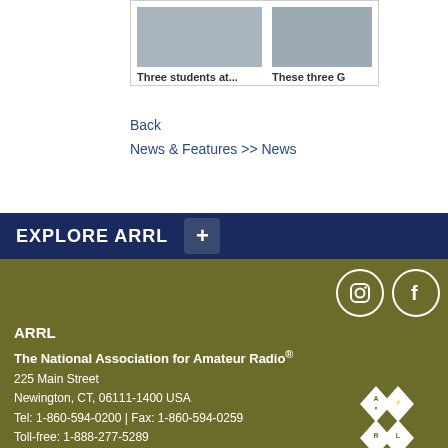[Figure (photo): Photo of three students at a table with books/papers]
Three students at...
[Figure (photo): Partial photo - These three G...]
These three G
Back
News & Features >> News
EXPLORE ARRL
ARRL
The National Association for Amateur Radio®
225 Main Street
Newington, CT, 06111-1400 USA
Tel: 1-860-594-0200 | Fax: 1-860-594-0259
Toll-free: 1-888-277-5289
hq@arrl.org